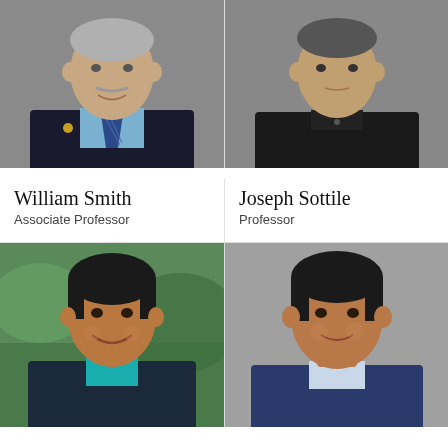[Figure (photo): Headshot of William Smith, a middle-aged white man with gray hair and mustache, wearing a blue suit with a striped blue tie and a lapel pin, against a gray background.]
[Figure (photo): Headshot of Joseph Sottile, a middle-aged man wearing a black polo shirt, against a gray background.]
William Smith
Associate Professor
Joseph Sottile
Professor
[Figure (photo): Outdoor photo of a younger South Asian man with dark hair, wearing a teal shirt and dark blazer, smiling, with green foliage in the background.]
[Figure (photo): Headshot of a younger South Asian man with dark hair, wearing a blue suit and light shirt, against a gray background.]